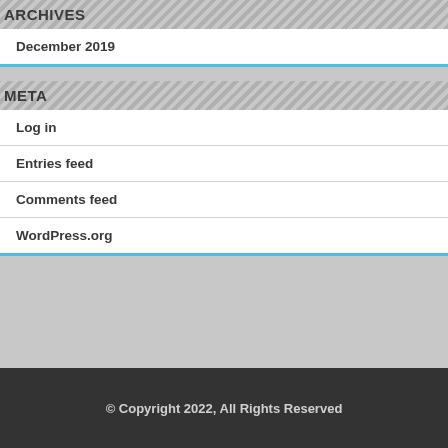ARCHIVES
December 2019
META
Log in
Entries feed
Comments feed
WordPress.org
© Copyright 2022, All Rights Reserved